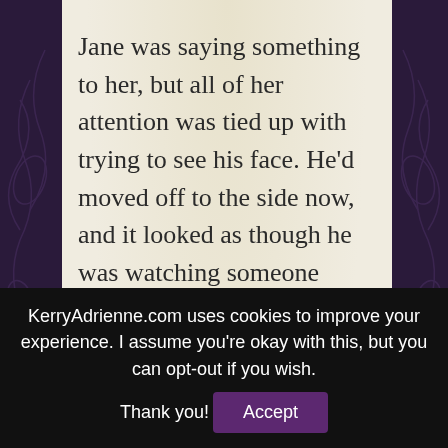Jane was saying something to her, but all of her attention was tied up with trying to see his face. He'd moved off to the side now, and it looked as though he was watching someone intently. Actually, a couple of someones—a man and a woman. On the surface it looked like he was strolling along casually, but she could not mistake the intensity of his gaze on them. It
KerryAdrienne.com uses cookies to improve your experience. I assume you're okay with this, but you can opt-out if you wish. Thank you!